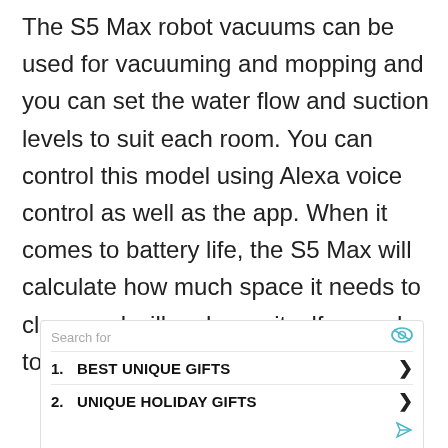The S5 Max robot vacuums can be used for vacuuming and mopping and you can set the water flow and suction levels to suit each room. You can control this model using Alexa voice control as well as the app. When it comes to battery life, the S5 Max will calculate how much space it needs to clean and will recharge itself enough to cover the area required.
Search for
1. BEST UNIQUE GIFTS
2. UNIQUE HOLIDAY GIFTS